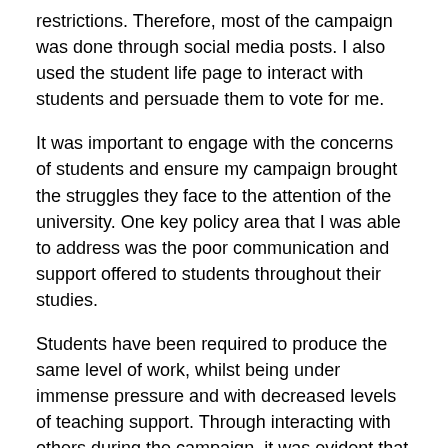restrictions. Therefore, most of the campaign was done through social media posts. I also used the student life page to interact with students and persuade them to vote for me.
It was important to engage with the concerns of students and ensure my campaign brought the struggles they face to the attention of the university. One key policy area that I was able to address was the poor communication and support offered to students throughout their studies.
Students have been required to produce the same level of work, whilst being under immense pressure and with decreased levels of teaching support. Through interacting with others during the campaign, it was evident that across the board students from different subject areas experienced similar issues.
Running a social media campaign required a lot of time